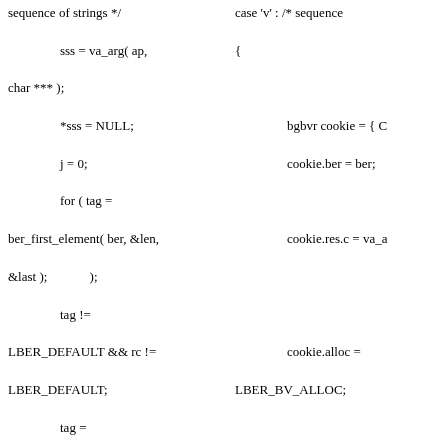Left column code fragment: sequence of strings */ sss = va_arg( ap, char *** ); *sss = NULL; j = 0; for ( tag = ber_first_element( ber, &len, &last ); tag != LBER_DEFAULT && rc != LBER_DEFAULT; tag = ber_next_element( ber, &len, last, NULL ); ) ) { *sss = (char **) LBER_REALLOC( *sss, (j + 2) * sizeof(char *) ); rc = ber_get_stringa( ber, &((*sss)[j]) ); j++; }
Right column code fragment: case 'v' : /* sequence { bgbvr cookie = { C cookie.ber = ber; cookie.res.c = va_a cookie.alloc = LBER_BV_ALLOC; rc = ber_get_stringb